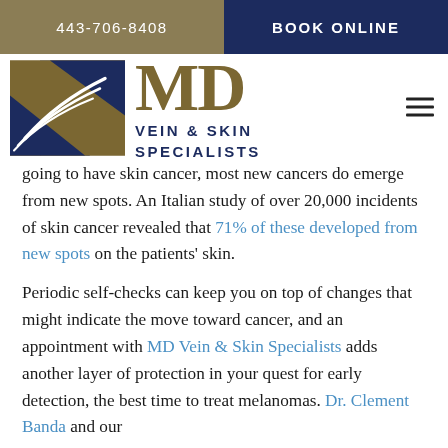443-706-8408   BOOK ONLINE
[Figure (logo): MD Vein & Skin Specialists logo with gold/blue emblem and text]
going to have skin cancer, most new cancers do emerge from new spots. An Italian study of over 20,000 incidents of skin cancer revealed that 71% of these developed from new spots on the patients' skin.
Periodic self-checks can keep you on top of changes that might indicate the move toward cancer, and an appointment with MD Vein & Skin Specialists adds another layer of protection in your quest for early detection, the best time to treat melanomas. Dr. Clement Banda and our